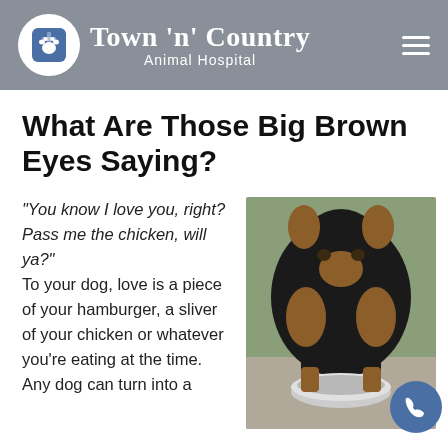Town 'n' Country Animal Hospital
What Are Those Big Brown Eyes Saying?
“You know I love you, right? Pass me the chicken, will ya?” To your dog, love is a piece of your hamburger, a sliver of your chicken or whatever you’re eating at the time. Any dog can turn into a
[Figure (photo): A dog with black and tan coloring eating from a metal bowl, viewed from above and in front.]